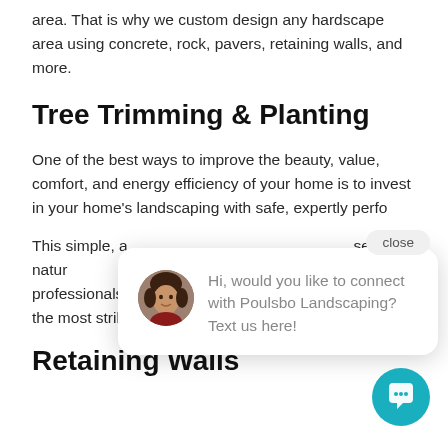area. That is why we custom design any hardscape area using concrete, rock, pavers, retaining walls, and more.
Tree Trimming & Planting
One of the best ways to improve the beauty, value, comfort, and energy efficiency of your home is to invest in your home's landscaping with safe, expertly perfo[rmance]
This simple, a[nd] serene, natura[l] landscaping. W[e] professionals [keep trees] healthy as it grows to become one of the most striking parts of your property.
[Figure (screenshot): Chat popup widget showing a close button, avatar of a woman, and message: Hi, would you like to connect with Poulsbo Landscaping? Text us here!]
Retaining Walls